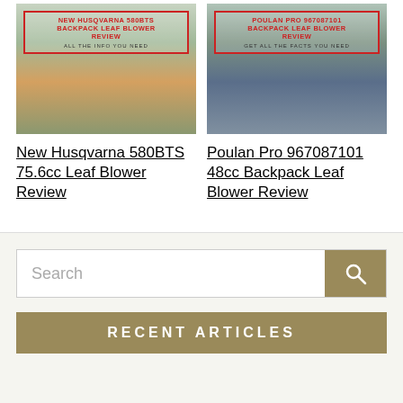[Figure (photo): Thumbnail image for Husqvarna 580BTS backpack leaf blower review article, showing a person wearing a backpack blower with red-bordered overlay text]
[Figure (photo): Thumbnail image for Poulan Pro 967087101 backpack leaf blower review article, showing a person in plaid shirt with red-bordered overlay text]
New Husqvarna 580BTS 75.6cc Leaf Blower Review
Poulan Pro 967087101 48cc Backpack Leaf Blower Review
Search
Recent Articles